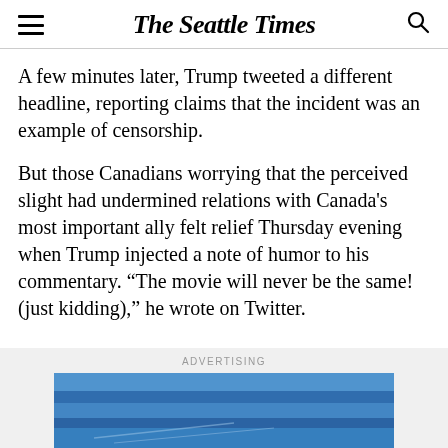The Seattle Times
A few minutes later, Trump tweeted a different headline, reporting claims that the incident was an example of censorship.
But those Canadians worrying that the perceived slight had undermined relations with Canada's most important ally felt relief Thursday evening when Trump injected a note of humor to his commentary. “The movie will never be the same! (just kidding),” he wrote on Twitter.
ADVERTISING
[Figure (photo): Advertisement image showing a blue background with partial imagery, part of an advertising unit.]